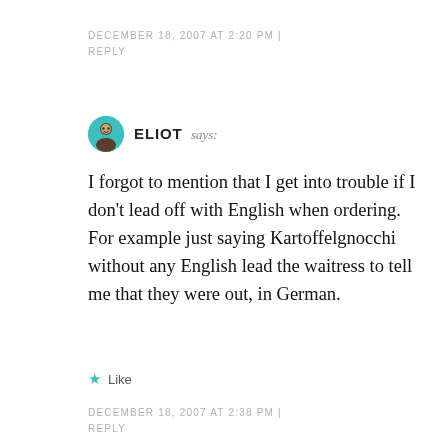DECEMBER 18, 2007 AT 2:20 PM | REPLY
ELIOT says:
I forgot to mention that I get into trouble if I don't lead off with English when ordering. For example just saying Kartoffelgnocchi without any English lead the waitress to tell me that they were out, in German.
Like
DECEMBER 18, 2007 AT 2:38 PM | REPLY